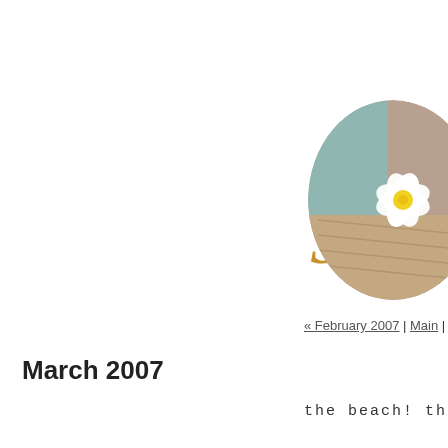Soule
[Figure (photo): Circular cropped photo showing a white flower (plumeria/frangipani) on a wooden/textured background with teal/turquoise elements]
« February 2007 | Main | April 200
March 2007
the beach! the bea